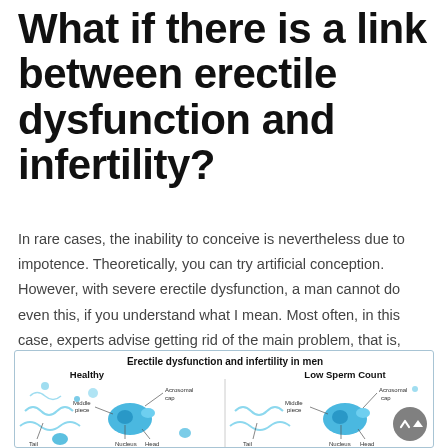What if there is a link between erectile dysfunction and infertility?
In rare cases, the inability to conceive is nevertheless due to impotence. Theoretically, you can try artificial conception. However, with severe erectile dysfunction, a man cannot do even this, if you understand what I mean. Most often, in this case, experts advise getting rid of the main problem, that is, erectile dysfunction.
[Figure (illustration): Medical illustration comparing healthy sperm count vs low sperm count. Shows sperm cells with labeled parts (Acrosomal cap, Middle piece, Nucleus, Head, Tail) in a two-panel diagram. Left panel labeled 'Healthy', right panel labeled 'Low Sperm Count'. Blue and light blue color scheme on white background.]